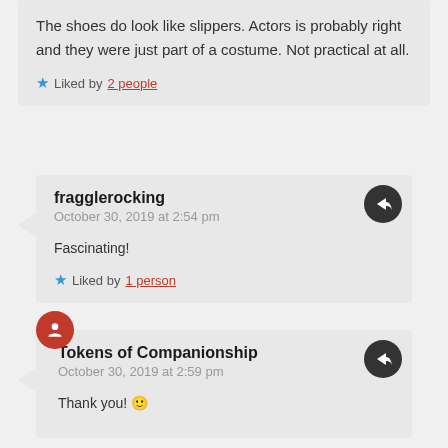The shoes do look like slippers. Actors is probably right and they were just part of a costume. Not practical at all.
Liked by 2 people
fragglerocking
October 30, 2019 at 2:54 pm
Fascinating!
Liked by 1 person
Tokens of Companionship
October 30, 2019 at 2:59 pm
Thank you! 🙂